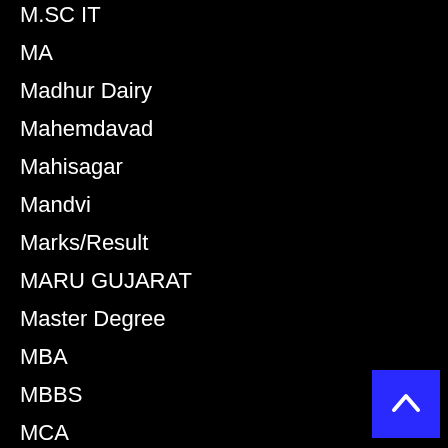M.SC IT
MA
Madhur Dairy
Mahemdavad
Mahisagar
Mandvi
Marks/Result
MARU GUJARAT
Master Degree
MBA
MBBS
MCA
MCF
MDM
MDM Job
Medical Jobs